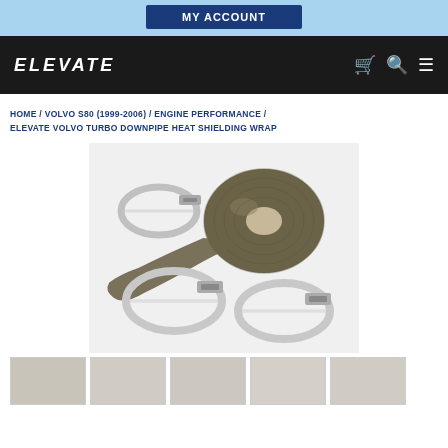MY ACCOUNT
[Figure (logo): ELEVATE brand logo in white italic text on dark background, with shopping cart, search, and menu icons]
HOME / VOLVO S80 (1999-2006) / ENGINE PERFORMANCE / ELEVATE VOLVO TURBO DOWNPIPE HEAT SHIELDING WRAP
[Figure (photo): Product photo showing Elevate Volvo Turbo Downpipe Heat Shielding Wrap – a roll of dark woven heat wrap tape with multiple stainless steel hose clamps arranged around it on a white background]
[Figure (photo): Thumbnail strip of product images at bottom of page]